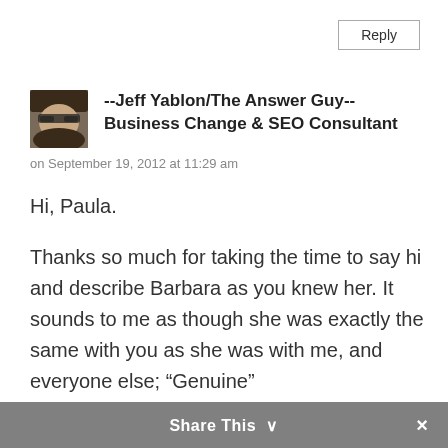Reply
--Jeff Yablon/The Answer Guy-- Business Change & SEO Consultant
on September 19, 2012 at 11:29 am
Hi, Paula.

Thanks so much for taking the time to say hi and describe Barbara as you knew her. It sounds to me as though she was exactly the same with you as she was with me, and everyone else; “Genuine”
Share This ∨  ×